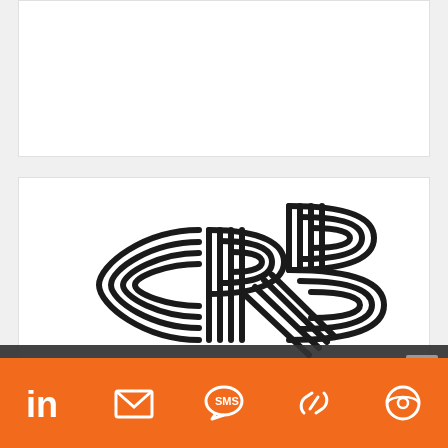[Figure (logo): CRB logo - stylized letters C, R, B in bold multi-line geometric art style, black on white]
We use cookies to ensure that we give you the best experience on our website. If you continue to use this site we will assume that you are happy with it.
[Figure (infographic): Orange footer bar with social/contact icons: LinkedIn, email/envelope, SMS speech bubble, link/chain, and a circular icon]